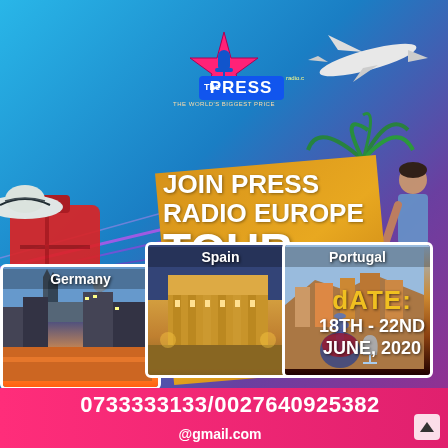[Figure (logo): The Press Radio logo with star and microphone, text 'The PRESS radio.com - THE WORLD'S BIGGEST PRICE']
JOIN PRESS RADIO EUROPE TOUR
[Figure (photo): Collage of travel imagery: luggage, airplane, palm trees, traveler, city skylines of Germany, Spain, Portugal]
Germany
Spain
Portugal
dATE: 18TH - 22ND JUNE, 2020
0733333133/0027640925382
@gmail.com